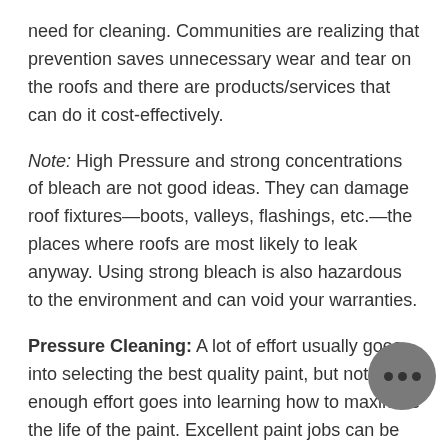need for cleaning. Communities are realizing that prevention saves unnecessary wear and tear on the roofs and there are products/services that can do it cost-effectively.
Note: High Pressure and strong concentrations of bleach are not good ideas. They can damage roof fixtures—boots, valleys, flashings, etc.—the places where roofs are most likely to leak anyway. Using strong bleach is also hazardous to the environment and can void your warranties.
Pressure Cleaning: A lot of effort usually goes into selecting the best quality paint, but not enough effort goes into learning how to maximize the life of the paint. Excellent paint jobs can be easily ruined and warranties voided by improper cleaning.